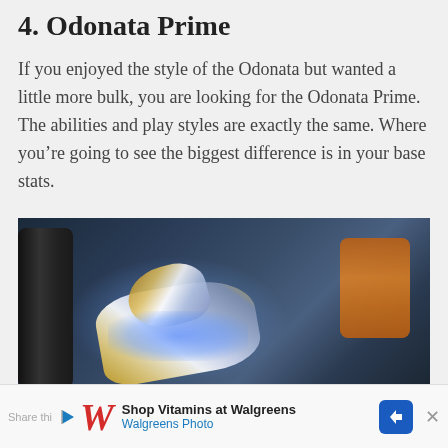4. Odonata Prime
If you enjoyed the style of the Odonata but wanted a little more bulk, you are looking for the Odonata Prime. The abilities and play styles are exactly the same. Where you’re going to see the biggest difference is in your base stats.
[Figure (photo): In-game screenshot of the Odonata Prime Warframe, a silver and gold armored figure with blue energy glow, lying in a room with dark cylindrical machinery, an orange container on the right, and a blue-lit background.]
Shop Vitamins at Walgreens | Walgreens Photo